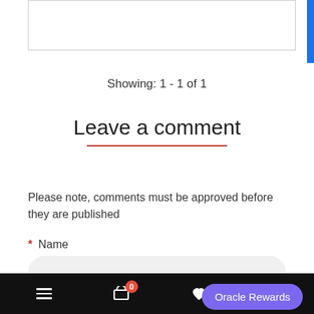Showing: 1 - 1 of 1
Leave a comment
Please note, comments must be approved before they are published
* Name
* E-Mail
Oracle Rewards